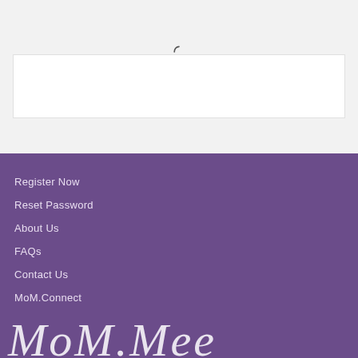[Figure (screenshot): Top section with light gray background, a loading spinner icon near top center, and a white rectangular box below it]
Register Now
Reset Password
About Us
FAQs
Contact Us
MoM.Connect
[Figure (illustration): Cursive/script style white text partially visible at the bottom of the purple footer section]